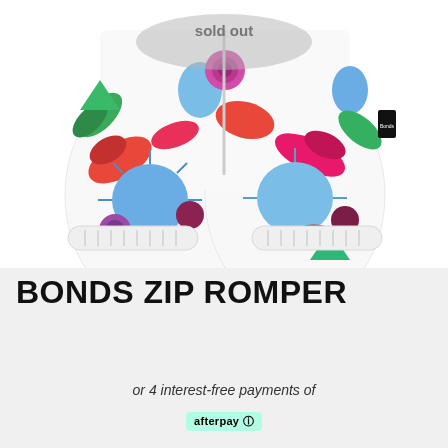[Figure (photo): Bonds Zip Romper product photo showing colorful seashell-patterned romper/shorts with white ribbed cuffs, displayed against a white background with a 'sold out' overlay]
BONDS ZIP ROMPER
or 4 interest-free payments of
afterpay